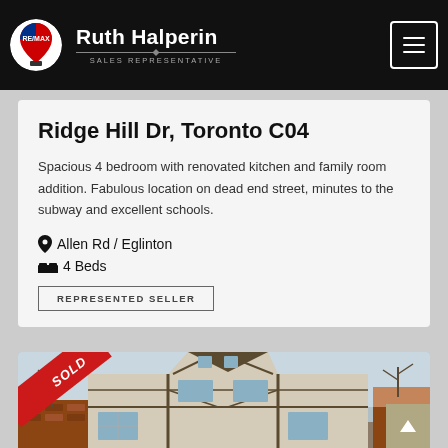Ruth Halperin — Sales Representative (RE/MAX)
Ridge Hill Dr, Toronto C04
Spacious 4 bedroom with renovated kitchen and family room addition. Fabulous location on dead end street, minutes to the subway and excellent schools.
📍 Allen Rd / Eglinton
🛏 4 Beds
REPRESENTED SELLER
[Figure (photo): Exterior photo of a Tudor-style house with a SOLD banner in the upper-left corner. The house has stucco and timber framing details, multiple gabled dormers, and brick accents. Bare trees visible in background.]